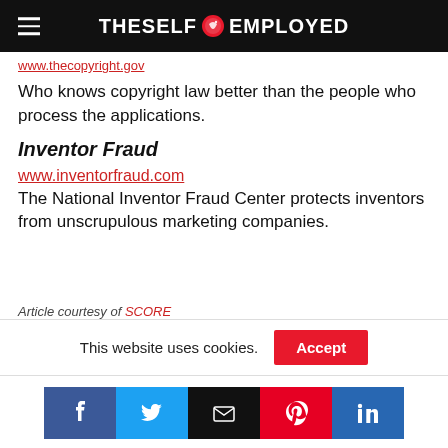THE SELF EMPLOYED
www.thecopyright.gov
Who knows copyright law better than the people who process the applications.
Inventor Fraud
www.inventorfraud.com
The National Inventor Fraud Center protects inventors from unscrupulous marketing companies.
Article courtesy of SCORE
This website uses cookies. Accept
[Figure (other): Social sharing buttons: Facebook, Twitter, Email, Pinterest, LinkedIn]